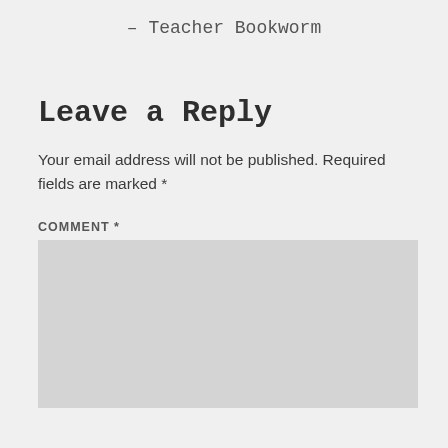– Teacher Bookworm
Leave a Reply
Your email address will not be published. Required fields are marked *
COMMENT *
[Figure (other): Empty comment text area input box with light gray background]